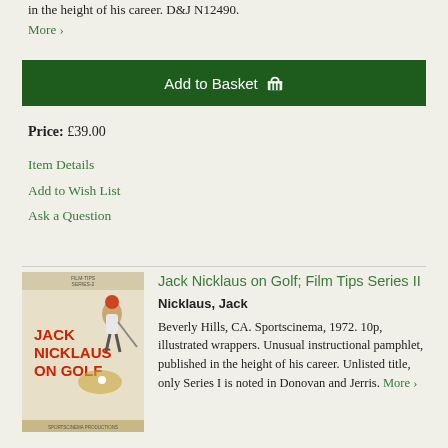in the height of his career. D&J N12490. More >
Add to Basket
Price: £39.00
Item Details
Add to Wish List
Ask a Question
[Figure (photo): Book cover for Jack Nicklaus on Golf, Film Tips Series II, showing a golfer illustration with red text on a light background]
Jack Nicklaus on Golf; Film Tips Series II
Nicklaus, Jack
Beverly Hills, CA. Sportscinema, 1972. 10p, illustrated wrappers. Unusual instructional pamphlet, published in the height of his career. Unlisted title, only Series I is noted in Donovan and Jerris. More >